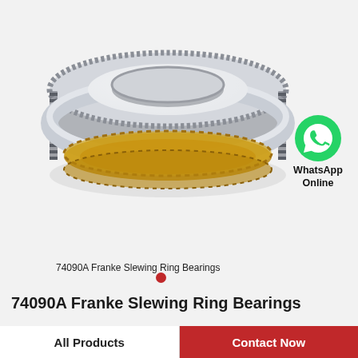[Figure (illustration): 3D rendered slewing ring bearing (74090A Franke) showing a large circular bearing with gear teeth around the outer ring, metallic silver and bronze/gold colored rolling elements, cutaway view revealing ball bearings inside. Label text '74090A Franke Slewing Ring Bearings' appears below the bearing image. A WhatsApp icon (green circle with phone handset) with label 'WhatsApp Online' appears to the right.]
74090A Franke Slewing Ring Bearings
74090A Franke Slewing Ring Bearings
All Products
Contact Now